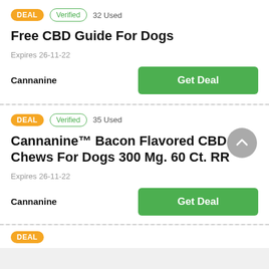DEAL  Verified  32 Used
Free CBD Guide For Dogs
Expires 26-11-22
Cannanine   Get Deal
DEAL  Verified  35 Used
Cannanine™ Bacon Flavored CBD Soft Chews For Dogs 300 Mg. 60 Ct. RR
Expires 26-11-22
Cannanine   Get Deal